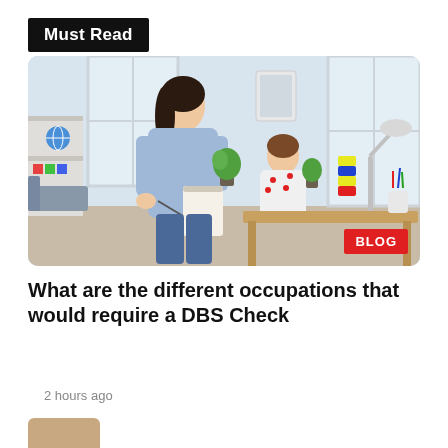Must Read
[Figure (photo): A woman in a light blue shirt leans over a child working at a desk in a bright, white room. The room has a bookshelf, globe, a desk lamp, a plant, and colorful items. The child wears a white polka-dot top and is coloring or writing. A red BLOG badge appears in the bottom-right corner of the image.]
What are the different occupations that would require a DBS Check
2 hours ago